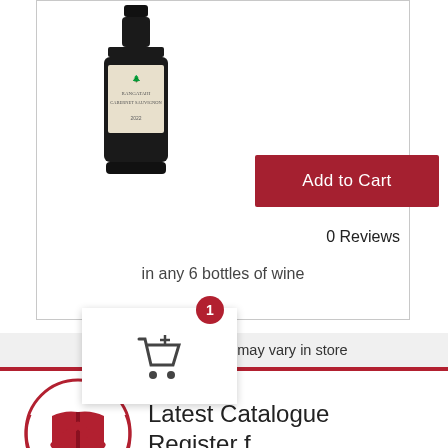[Figure (photo): Wine bottle with label showing Cabernet Sauvignon, dark bottle on white background]
[Figure (other): Red Add to Cart button]
0 Reviews
in any 6 bottles of wine
*Online Price. Prices may vary in store
[Figure (illustration): Red circle with open book icon — Latest Catalogue]
Latest Catalogue
[Figure (illustration): White cart popup with add-to-cart icon and badge showing 1]
[Figure (illustration): Partial red circle at bottom with chevron icon — Register for...]